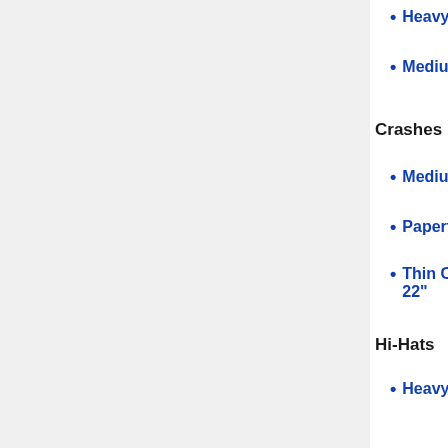Heavy - 16" 18" 20"
Medium Ride - 20" 22" 24"
Crashes
Medium - 16" 17" 18" 19" 20"
Paperthin - 16" 18" 20"
Thin Crash - 16" 17" 18" 19" 20" 22"
Hi-Hats
Heavy Hi-Hat - 14" 15"
Medium Hi-Hat - 14" 15"
Sound Edge Hi-Hat - 14" 15"
Splashes (& Bells)
Heavy Bell - 13"
Discontinued Models & Sizes (Also Includes Customs)
Rides